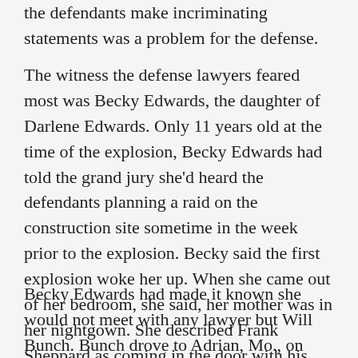the defendants made incriminating statements was a problem for the defense.
The witness the defense lawyers feared most was Becky Edwards, the daughter of Darlene Edwards. Only 11 years old at the time of the explosion, Becky Edwards had told the grand jury she'd heard the defendants planning a raid on the construction site sometime in the week prior to the explosion. Becky said the first explosion woke her up. When she came out of her bedroom, she said, her mother was in her nightgown. She described Frank Sheppard as coming in the door with his shoes all scuffed up.
Becky Edwards had made it known she would not meet with any lawyer but Will Bunch. Bunch drove to Adrian, Mo., on multiple occasions, trying to meet with the 19-year-old girl. When he finally did get to interview her,